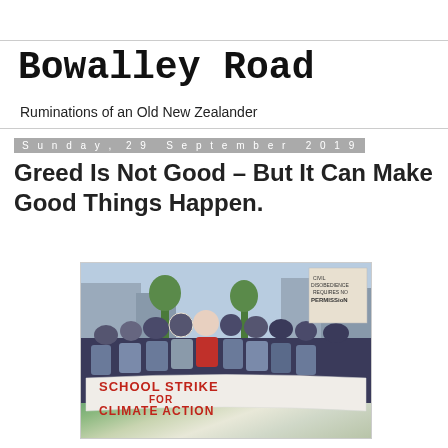Bowalley Road
Ruminations of an Old New Zealander
Sunday, 29 September 2019
Greed Is Not Good – But It Can Make Good Things Happen.
[Figure (photo): A crowd of young people marching with a banner reading 'SCHOOL STRIKE FOR CLIMATE ACTION' in red letters. Signs visible in the background including one reading 'CIVIL DISOBEDIENCE REQUIRES NO PERMISSION'.]
The Last, Best Hope Of Humankind: New Zealand was once known as the social laboratory of the world; why should it not turn itself into the planet’s climate laboratory? Directing our energy outward is the only viable survival strategy available to New Zealanders. There are no walls that